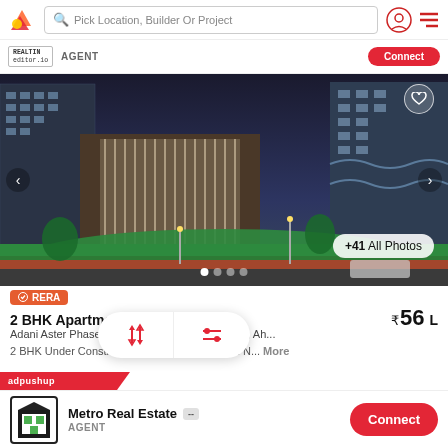Pick Location, Builder Or Project
REALTIN editor.io  AGENT
[Figure (photo): Architectural rendering of a residential apartment complex with tall buildings, landscaped gardens, red flowers, green lawns, and evening lighting. +41 All Photos button visible.]
RERA
2 BHK Apartment 1,216 sq ft  ₹56 L
Adani Aster Phase 1  |  N... y On SG Highway, Ah...
2 BHK Under Construction N... perty for Sale in N...  More
adpushup
Metro Real Estate  AGENT  Connect